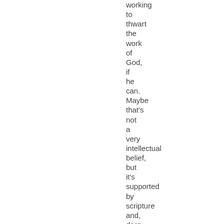working to thwart the work of God, if he can. Maybe that's not a very intellectual belief, but it's supported by scripture and, dare I say, personal